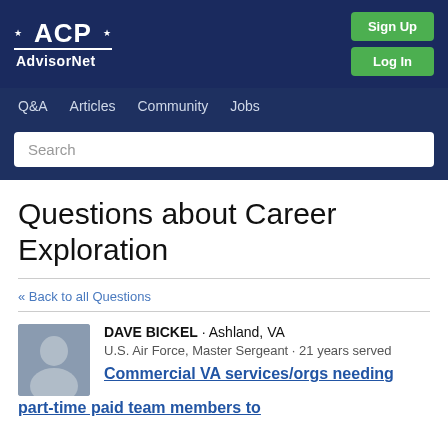[Figure (logo): ACP AdvisorNet logo with stars, white on dark navy blue background]
Sign Up | Log In
Q&A  Articles  Community  Jobs
Search
Questions about Career Exploration
« Back to all Questions
DAVE BICKEL · Ashland, VA
U.S. Air Force, Master Sergeant · 21 years served
Commercial VA services/orgs needing part-time paid team members to